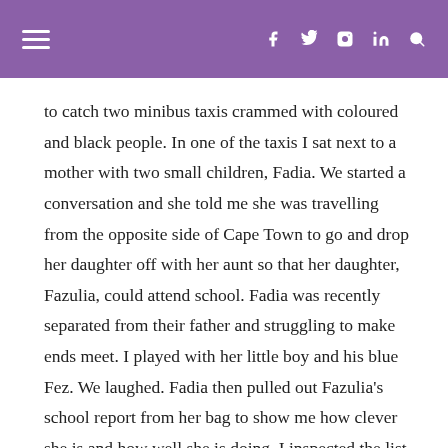≡  f  tw  ⊙  in  🔍
to catch two minibus taxis crammed with coloured and black people. In one of the taxis I sat next to a mother with two small children, Fadia. We started a conversation and she told me she was travelling from the opposite side of Cape Town to go and drop her daughter off with her aunt so that her daughter, Fazulia, could attend school. Fadia was recently separated from their father and struggling to make ends meet. I played with her little boy and his blue Fez. We laughed. Fadia then pulled out Fazulia's school report from her bag to show me how clever she is and how well she is doing. I inspected the list of meritorious comments and noted how well she had done in numbers. Fazulia smiled shyly and said she wanted to be a doctor when she grew up. I smiled in return and said that was a wonderful idea. Fadia works as a chef, struggles to make ends meet, travels